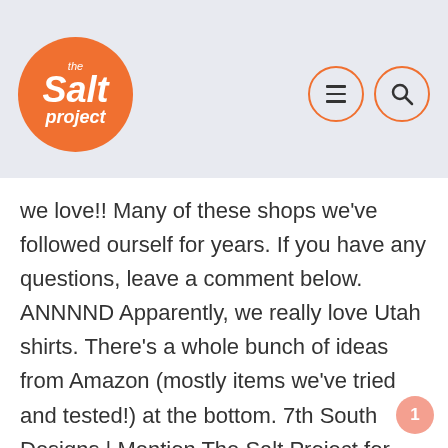[Figure (logo): The Salt Project logo — orange circle with white italic text reading 'the Salt project']
[Figure (other): Navigation icons: hamburger menu and search icon, both inside orange-bordered circles]
we love!! Many of these shops we've followed ourself for years. If you have any questions, leave a comment below. ANNNND Apparently, we really love Utah shirts. There's a whole bunch of ideas from Amazon (mostly items we've tried and tested!) at the bottom. 7th South Designs | Mention The Salt Project for buy one get one 1/2 off. The Bearded Jeweler | USE code SALT for 30% off Travel Stamps | 40% off entire store thru Cyber Monday. Use code BLACKFRIDAY. Little Canyon Outfitters | Use Code SHOPSMALL18